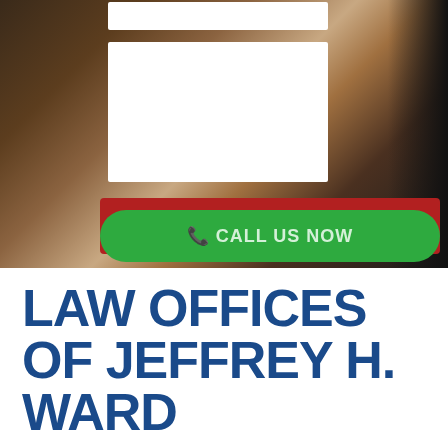[Figure (screenshot): Dark background photo of leather-bound books/briefcase with form UI elements overlaid: a white text input box, a white textarea box, a red 'SUBMIT FORM' button, and a green 'CALL US NOW' button with phone icon.]
LAW OFFICES OF JEFFREY H. WARD
December 2, 2014 | Brent Vullings | No Comments